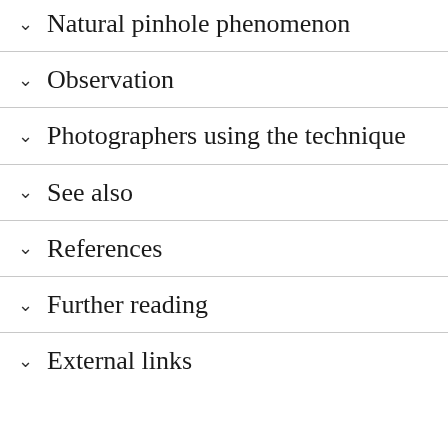Natural pinhole phenomenon
Observation
Photographers using the technique
See also
References
Further reading
External links